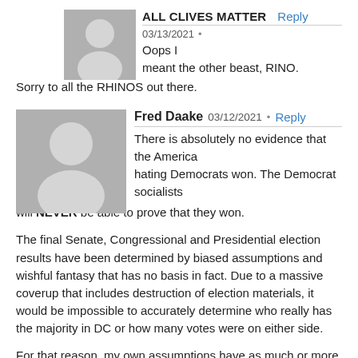[Figure (illustration): Gray placeholder avatar image for user ALL CLIVES MATTER]
ALL CLIVES MATTER  Reply
03/13/2021 •
Oops I meant the other beast, RINO. Sorry to all the RHINOS out there.
[Figure (illustration): Gray placeholder avatar image for user Fred Daake]
Fred Daake  03/12/2021 •  Reply
There is absolutely no evidence that the America hating Democrats won. The Democrat socialists will NEVER be able to prove that they won.

The final Senate, Congressional and Presidential election results have been determined by biased assumptions and wishful fantasy that has no basis in fact. Due to a massive coverup that includes destruction of election materials, it would be impossible to accurately determine who really has the majority in DC or how many votes were on either side.

For that reason, my own assumptions have as much or more